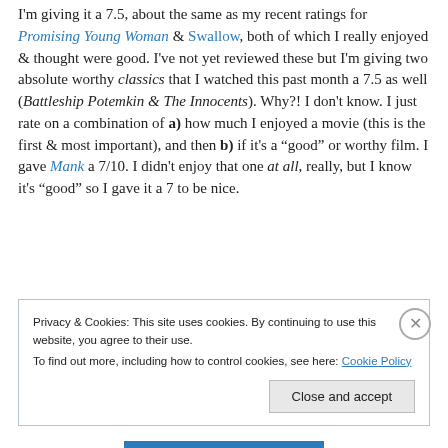I'm giving it a 7.5, about the same as my recent ratings for Promising Young Woman & Swallow, both of which I really enjoyed & thought were good. I've not yet reviewed these but I'm giving two absolute worthy classics that I watched this past month a 7.5 as well (Battleship Potemkin & The Innocents). Why?! I don't know. I just rate on a combination of a) how much I enjoyed a movie (this is the first & most important), and then b) if it's a "good" or worthy film. I gave Mank a 7/10. I didn't enjoy that one at all, really, but I know it's "good" so I gave it a 7 to be nice.
Privacy & Cookies: This site uses cookies. By continuing to use this website, you agree to their use. To find out more, including how to control cookies, see here: Cookie Policy